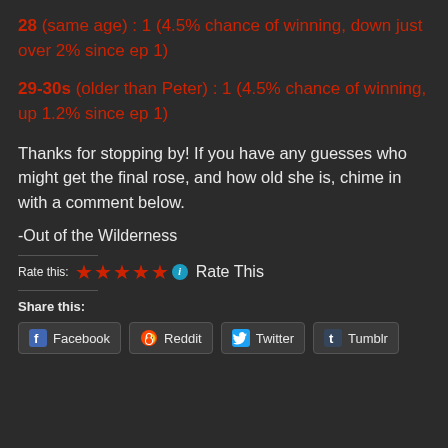28 (same age) : 1 (4.5% chance of winning, down just over 2% since ep 1)
29-30s (older than Peter) : 1 (4.5% chance of winning, up 1.2% since ep 1)
Thanks for stopping by! If you have any guesses who might get the final rose, and how old she is, chime in with a comment below.
-Out of the Wilderness
Rate this: ★★★★★ ℹ Rate This
Share this:
Facebook  Reddit  Twitter  Tumblr